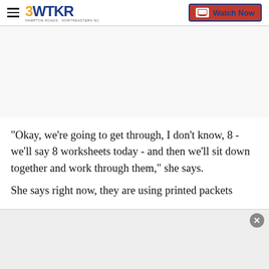3WTKR — Watch Now
[Figure (other): Advertisement/blank area placeholder at top of article page]
"Okay, we're going to get through, I don't know, 8 - we'll say 8 worksheets today - and then we'll sit down together and work through them," she says.
She says right now, they are using printed packets
[Figure (other): Bottom advertisement banner with close (x) button]